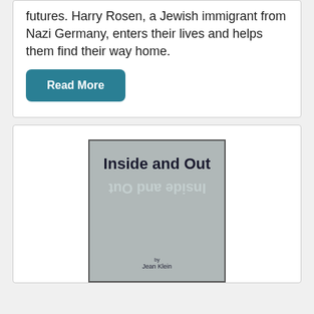futures. Harry Rosen, a Jewish immigrant from Nazi Germany, enters their lives and helps them find their way home.
Read More
[Figure (illustration): Book cover for 'Inside and Out' by Jean Klein. Gray cover with bold dark title text 'Inside and Out' and a reflected/mirrored version of the title below, author name 'Jean Klein' at bottom.]